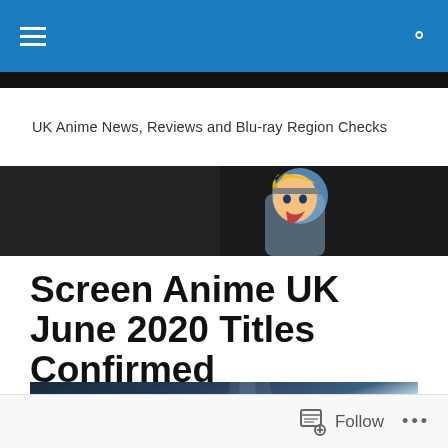UK Anime News, Reviews and Blu-ray Region Checks
[Figure (illustration): Anime character (Naruto) with blonde hair and blue outfit against dark background banner]
Screen Anime UK June 2020 Titles Confirmed
[Figure (illustration): Anime scene with dramatic clouds and light beams in blue/teal tones]
Follow